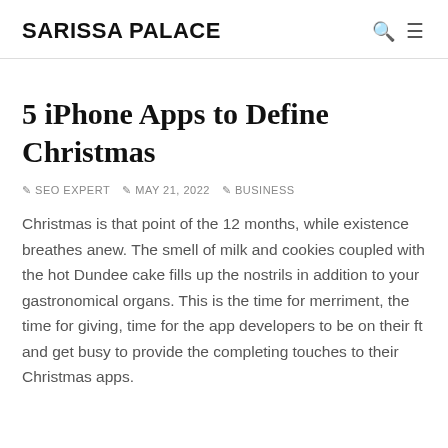SARISSA PALACE
5 iPhone Apps to Define Christmas
✎ SEO EXPERT  ✎ MAY 21, 2022  ✎ BUSINESS
Christmas is that point of the 12 months, while existence breathes anew. The smell of milk and cookies coupled with the hot Dundee cake fills up the nostrils in addition to your gastronomical organs. This is the time for merriment, the time for giving, time for the app developers to be on their ft and get busy to provide the completing touches to their Christmas apps.